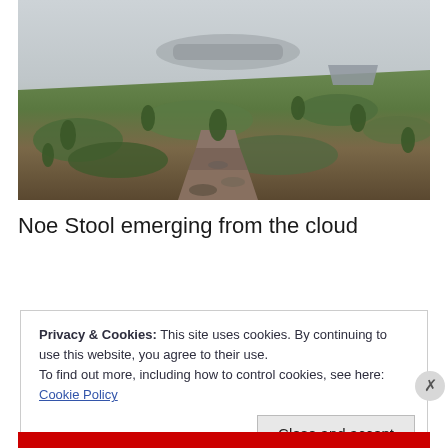[Figure (photo): A misty moorland scene showing mossy grass, rocky path steps leading upward, and a large flat boulder (Noe Stool) emerging from low cloud/fog at the top]
Noe Stool emerging from the cloud
Privacy & Cookies: This site uses cookies. By continuing to use this website, you agree to their use.
To find out more, including how to control cookies, see here: Cookie Policy